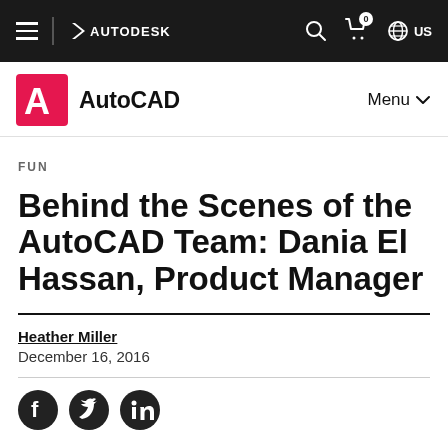AUTODESK — AutoCAD — Menu — Search — Cart — US
FUN
Behind the Scenes of the AutoCAD Team: Dania El Hassan, Product Manager
Heather Miller
December 16, 2016